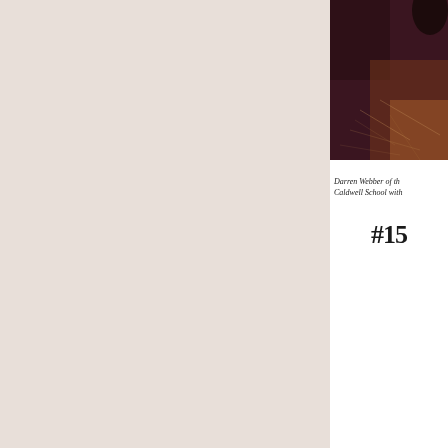[Figure (photo): Partial view of a dark-toned photograph showing what appears to be a floor with scratches and a foot/shoe, with warm amber and dark maroon tones. The image is cropped at the top and right edges of the page.]
Darren Webber of th... Caldwell School with...
#15